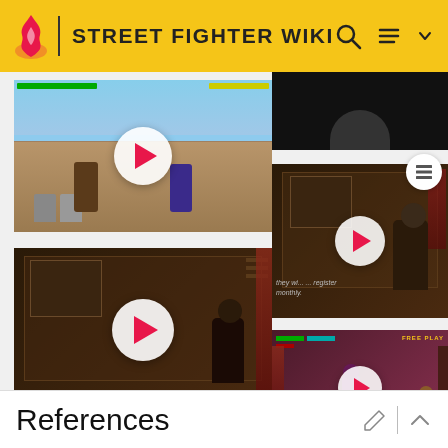STREET FIGHTER WIKI
[Figure (screenshot): Street Fighter game screenshot with play button overlay - fighting game scene]
[Figure (screenshot): Black/dark thumbnail at top right]
[Figure (screenshot): Dark room scene with character - play button overlay (right middle)]
[Figure (screenshot): Dark room scene with character - play button overlay (left bottom) - Capcom Beat Em Up Bundle]
[Figure (screenshot): Arcade game screenshot with FREE PLAY text and characters - play button overlay]
(Capcom Beat Em Up Bundle)
References